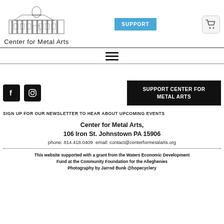[Figure (illustration): Illustration of a historical building with columns and a dome, labeled 'Center for Metal Arts']
SUPPORT
[Figure (illustration): Cart icon]
[Figure (illustration): Hamburger menu icon (three horizontal lines)]
[Figure (illustration): Facebook icon square]
[Figure (illustration): Instagram icon square]
SUPPORT CENTER FOR METAL ARTS
SIGN UP FOR OUR NEWSLETTER TO HEAR ABOUT UPCOMING EVENTS
Center for Metal Arts,
106 Iron St. Johnstown PA 15906
phone: 814.418.0409  email: contact@centerformetalarts.org
This website supported with a grant from the Waters Economic Development Fund at the Community Foundation for the Alleghenies
Photography by Jarrod Bunk @hopecyclery